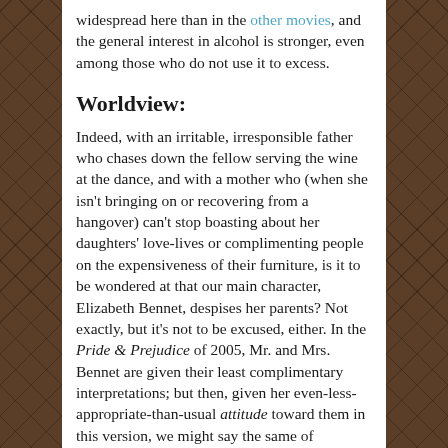widespread here than in the other movies, and the general interest in alcohol is stronger, even among those who do not use it to excess.
Worldview:
Indeed, with an irritable, irresponsible father who chases down the fellow serving the wine at the dance, and with a mother who (when she isn't bringing on or recovering from a hangover) can't stop boasting about her daughters' love-lives or complimenting people on the expensiveness of their furniture, is it to be wondered at that our main character, Elizabeth Bennet, despises her parents? Not exactly, but it's not to be excused, either. In the Pride & Prejudice of 2005, Mr. and Mrs. Bennet are given their least complimentary interpretations; but then, given her even-less-appropriate-than-usual attitude toward them in this version, we might say the same of Elizabeth Bennet. Rolling the eyes is typical of the character, as is the look of mixed